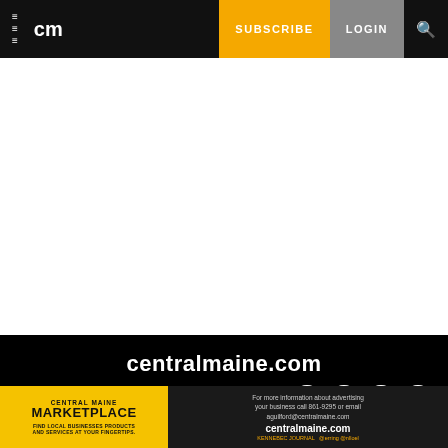≡  cm  SUBSCRIBE  LOGIN  🔍
centralmaine.com
CONTACT US
General Contact Information
Staff Directory
Submit a Letter to the Editor
News Tip
FAQs
ADVERTISE
Media Kit
Contact Advertising
Help Wanted Ads
Place an Obituary
[Figure (infographic): Central Maine Marketplace ad banner: yellow left panel with CENTRAL MAINE MARKETPLACE text, dark right panel with contact info and centralmaine.com]